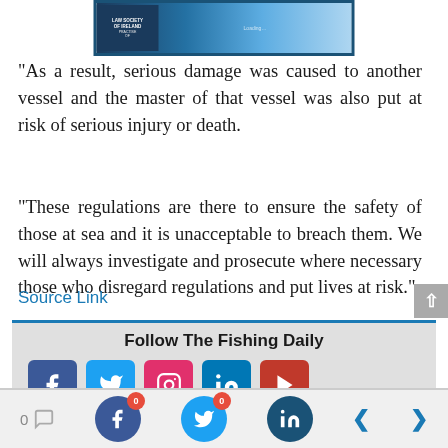[Figure (screenshot): Screenshot thumbnail of a video or webpage related to Law Society of Ireland or similar maritime/legal content, shown in a blue-bordered frame]
“As a result, serious damage was caused to another vessel and the master of that vessel was also put at risk of serious injury or death.
“These regulations are there to ensure the safety of those at sea and it is unacceptable to breach them. We will always investigate and prosecute where necessary those who disregard regulations and put lives at risk.”
Source Link
Follow The Fishing Daily
[Figure (infographic): Social media follow buttons: Facebook, Twitter, Instagram, LinkedIn, YouTube]
0 comments | Facebook share (0) | Twitter share (0) | LinkedIn share (0) | navigation arrows